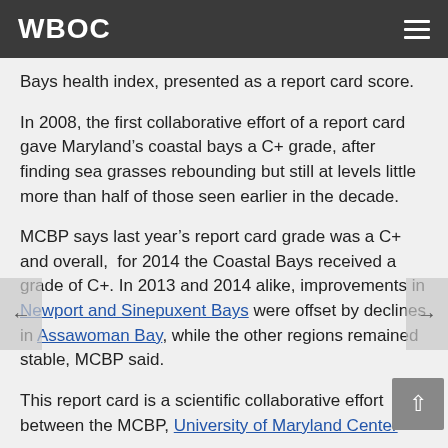WBOC
Bays health index, presented as a report card score.
In 2008, the first collaborative effort of a report card gave Maryland’s coastal bays a C+ grade, after finding sea grasses rebounding but still at levels little more than half of those seen earlier in the decade.
MCBP says last year’s report card grade was a C+ and overall,  for 2014 the Coastal Bays received a grade of C+. In 2013 and 2014 alike, improvements in Newport and Sinepuxent Bays were offset by declines in Assawoman Bay, while the other regions remained stable, MCBP said.
This report card is a scientific collaborative effort between the MCBP, University of Maryland Center